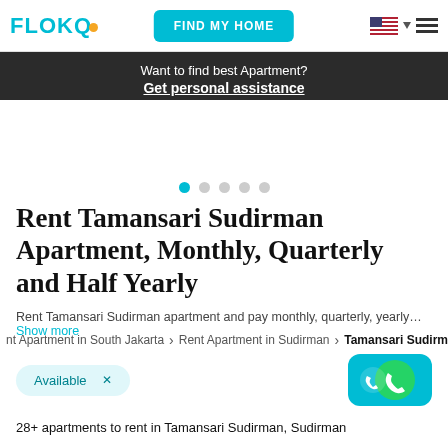FLOKO | FIND MY HOME
Want to find best Apartment? Get personal assistance
[Figure (other): Carousel image area with 5 navigation dots, first dot active in teal]
Rent Tamansari Sudirman Apartment, Monthly, Quarterly and Half Yearly
Rent Tamansari Sudirman apartment and pay monthly, quarterly, yearly... Show more
nt Apartment in South Jakarta > Rent Apartment in Sudirman > Tamansari Sudirman
Available ×
28+ apartments to rent in Tamansari Sudirman, Sudirman